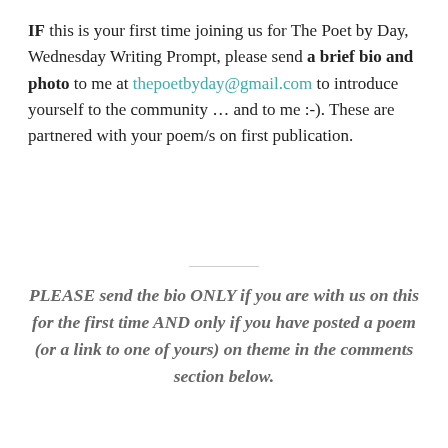IF this is your first time joining us for The Poet by Day, Wednesday Writing Prompt, please send a brief bio and photo to me at thepoetbyday@gmail.com to introduce yourself to the community … and to me :-). These are partnered with your poem/s on first publication.
PLEASE send the bio ONLY if you are with us on this for the first time AND only if you have posted a poem (or a link to one of yours) on theme in the comments section below.